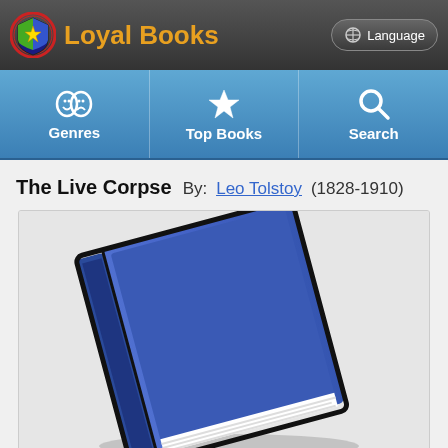Loyal Books
The Live Corpse  By: Leo Tolstoy (1828-1910)
[Figure (illustration): Illustration of a blue hardcover book tilted at an angle against a light gray background, with white pages visible at the bottom edge.]